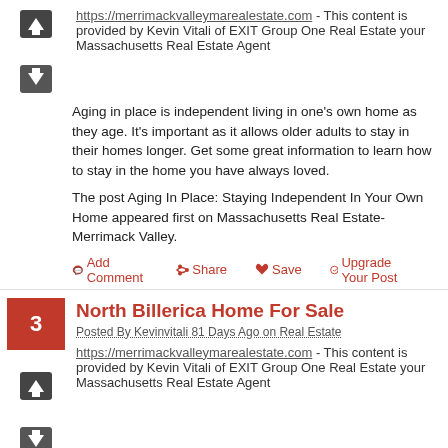https://merrimackvalleymarealestate.com - This content is provided by Kevin Vitali of EXIT Group One Real Estate your Massachusetts Real Estate Agent
Aging in place is independent living in one's own home as they age. It's important as it allows older adults to stay in their homes longer. Get some great information to learn how to stay in the home you have always loved.
The post Aging In Place: Staying Independent In Your Own Home appeared first on Massachusetts Real Estate- Merrimack Valley.
Add Comment  Share  Save  Upgrade Your Post
North Billerica Home For Sale
Posted By Kevinvitali 81 Days Ago on Real Estate
https://merrimackvalleymarealestate.com - This content is provided by Kevin Vitali of EXIT Group One Real Estate your Massachusetts Real Estate Agent
6 Lowell Street North Billerica MA 01821 3294 square feet 9 rooms 5 bedrooms 3.5 baths 2022 Taxes: $4,748.85 Price: $580,000 This home is currently occupied but is a major project. The home was previously